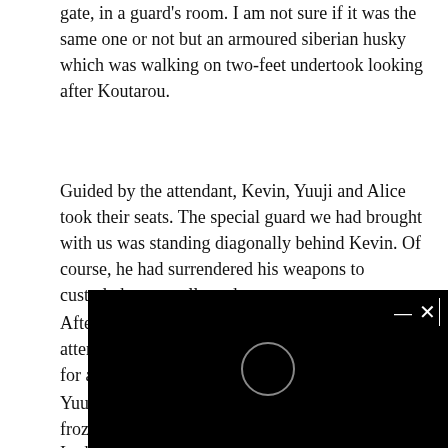gate, in a guard's room. I am not sure if it was the same one or not but an armoured siberian husky which was walking on two-feet undertook looking after Koutarou.
Guided by the attendant, Kevin, Yuuji and Alice took their seats. The special guard we had brought with us was standing diagonally behind Kevin. Of course, he had surrendered his weapons to custody but was allowed to wear armour.
After distributing tea to everyone in the room, the attendant left the room saying 'Then, please wait for a while'.
Yuuji was nervously looking around t… just frozen in place, with her back stra… she too was nervous to meet nobles.
In the end, Kevin was the only one who had enjoyed the…
[Figure (screenshot): Black overlay panel with an X close button and a circular loading/camera icon in the center.]